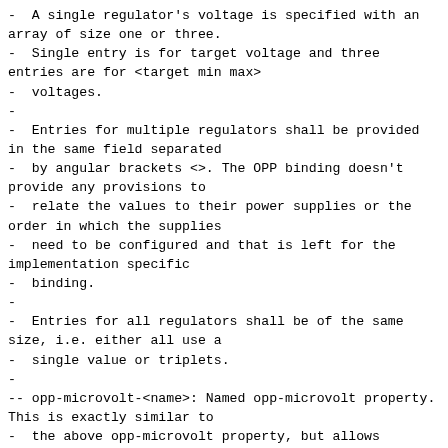-  A single regulator's voltage is specified with an array of size one or three.
-  Single entry is for target voltage and three entries are for <target min max>
-  voltages.
-
-  Entries for multiple regulators shall be provided in the same field separated
-  by angular brackets <>. The OPP binding doesn't provide any provisions to
-  relate the values to their power supplies or the order in which the supplies
-  need to be configured and that is left for the implementation specific
-  binding.
-
-  Entries for all regulators shall be of the same size, i.e. either all use a
-  single value or triplets.
-
-- opp-microvolt-<name>: Named opp-microvolt property. This is exactly similar to
-  the above opp-microvolt property, but allows multiple voltage ranges to be
-  provided for the same OPP. At runtime, the platform can pick a <name> and
-  matching opp-microvolt-<name> property will be enabled for all OPPs. If the
-  platform doesn't pick a specific <name> or the <name> doesn't match with any